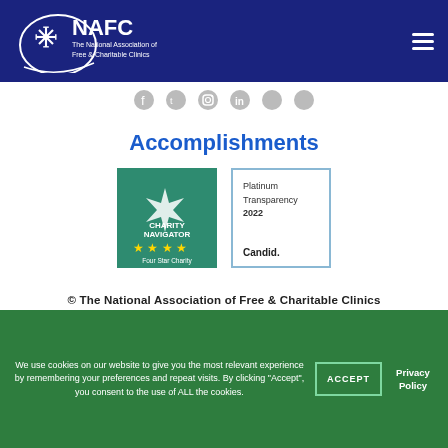[Figure (logo): NAFC - The National Association of Free & Charitable Clinics logo in white on dark blue header bar]
[Figure (illustration): Social media icons row: Facebook, Twitter, Instagram, LinkedIn, and two others, shown in gray on white bar]
Accomplishments
[Figure (illustration): Charity Navigator Four Star Charity badge - teal/green badge with star compass logo and four gold stars]
[Figure (illustration): Candid Platinum Transparency 2022 badge - white badge with light blue border]
© The National Association of Free & Charitable Clinics
© 2022
We use cookies on our website to give you the most relevant experience by remembering your preferences and repeat visits. By clicking "Accept", you consent to the use of ALL the cookies.
ACCEPT
Privacy Policy